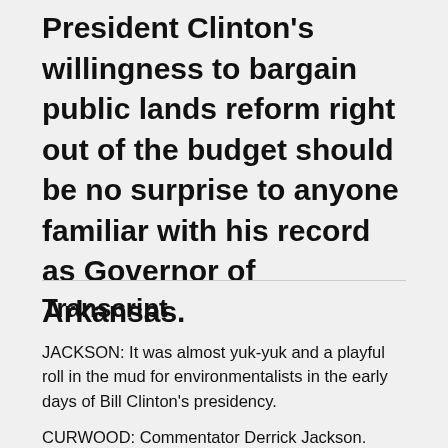President Clinton's willingness to bargain public lands reform right out of the budget should be no surprise to anyone familiar with his record as Governor of Arkansas.
Transcript
JACKSON: It was almost yuk-yuk and a playful roll in the mud for environmentalists in the early days of Bill Clinton's presidency.
CURWOOD: Commentator Derrick Jackson.
JACKSON: But when Clinton backed down from his